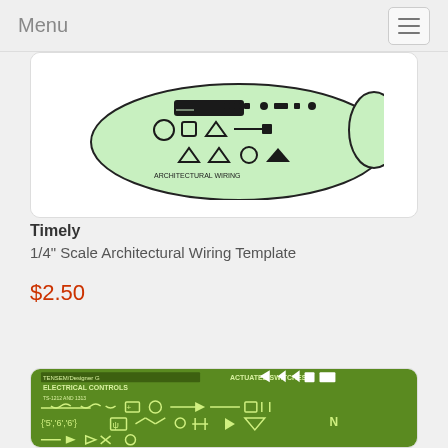Menu
[Figure (photo): Green architectural wiring template with symbols for electrical elements, partially visible at top of first product card]
Timely
1/4" Scale Architectural Wiring Template
$2.50
[Figure (photo): Green electrical controls template (Tensem/Designer G, TS-1212) showing actuated switches and electrical symbols, partially visible at bottom of page]